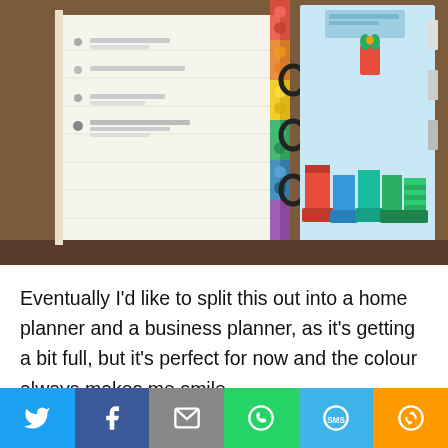[Figure (photo): A photo of an open ring binder planner/organiser on a dark wooden desk. The left page shows a to-do list or schedule with small circular bullet points and handwritten text. A decorative sticker strip with colourful circles and patterns runs along the spine. The right page is light blue and features illustrated wellington boots in various colours (red, blue, teal, green, striped). The planner rings are visible in the centre.]
Eventually I'd like to split this out into a home planner and a business planner, as it's getting a bit full, but it's perfect for now and the colour always makes me smile.
[Figure (infographic): Social media share bar with six buttons: Twitter (blue bird icon), Facebook (dark blue f icon), Email (grey envelope icon), WhatsApp (green phone icon), SMS (blue SMS icon), and More (orange circular arrows icon).]